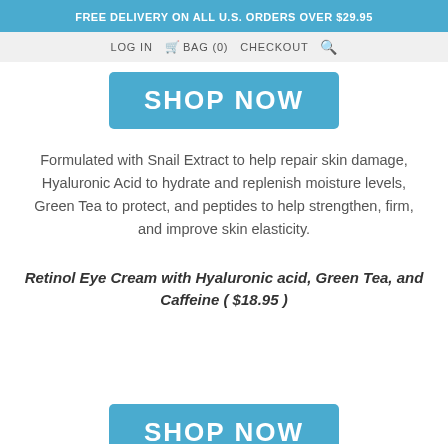FREE DELIVERY ON ALL U.S. ORDERS OVER $29.95
LOG IN  BAG (0)  CHECKOUT
[Figure (other): Blue 'SHOP NOW' button]
Formulated with Snail Extract to help repair skin damage, Hyaluronic Acid to hydrate and replenish moisture levels, Green Tea to protect, and peptides to help strengthen, firm, and improve skin elasticity.
Retinol Eye Cream with Hyaluronic acid, Green Tea, and Caffeine ( $18.95 )
[Figure (other): Blue 'SHOP NOW' button (partial, bottom of page)]